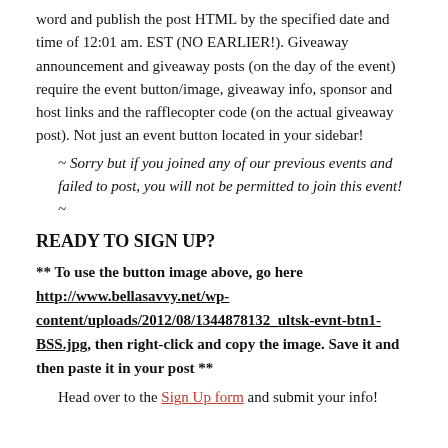word and publish the post HTML by the specified date and time of 12:01 am. EST (NO EARLIER!). Giveaway announcement and giveaway posts (on the day of the event) require the event button/image, giveaway info, sponsor and host links and the rafflecopter code (on the actual giveaway post). Not just an event button located in your sidebar!
~ Sorry but if you joined any of our previous events and failed to post, you will not be permitted to join this event! ~
READY TO SIGN UP?
** To use the button image above, go here http://www.bellasavvy.net/wp-content/uploads/2012/08/1344878132_ultsk-evnt-btn1-BSS.jpg, then right-click and copy the image. Save it and then paste it in your post **
Head over to the Sign Up form and submit your info!